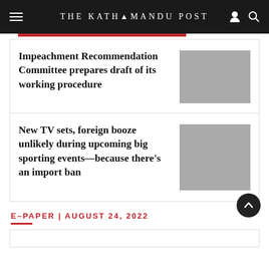THE KATHMANDU POST
Impeachment Recommendation Committee prepares draft of its working procedure
New TV sets, foreign booze unlikely during upcoming big sporting events—because there's an import ban
E–PAPER | AUGUST 24, 2022